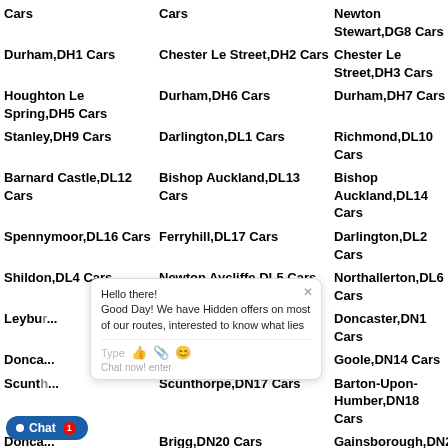Cars
Cars
Newton Stewart,DG8 Cars
Durham,DH1 Cars
Chester Le Street,DH2 Cars
Chester Le Street,DH3 Cars
Houghton Le Spring,DH5 Cars
Durham,DH6 Cars
Durham,DH7 Cars
Stanley,DH9 Cars
Darlington,DL1 Cars
Richmond,DL10 Cars
Barnard Castle,DL12 Cars
Bishop Auckland,DL13 Cars
Bishop Auckland,DL14 Cars
Spennymoor,DL16 Cars
Ferryhill,DL17 Cars
Darlington,DL2 Cars
Shildon,DL4 Cars
Newton Aycliffe,DL5 Cars
Northallerton,DL6 Cars
Leyburn... Cars
Catterick Garrison,DL9 Cars
Doncaster,DN1 Cars
Doncaster... Cars
Doncaster,DN12 Cars
Goole,DN14 Cars
Scunthorpe... Cars
Scunthorpe,DN17 Cars
Barton-Upon-Humber,DN18 Cars
Doncaster... Cars
Brigg,DN20 Cars
Gainsborough,DN21 Cars
Doncaster... Cars
Grimsby,DN31 Cars
Grimsby,DN32 Cars
Grimsby,DN34 Cars
Cleethorpes,DN35 Cars
Grimsby,DN36 Cars